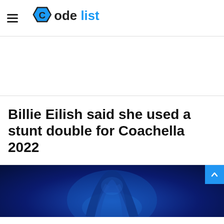CodeList
[Figure (other): Advertisement/blank space area]
Billie Eilish said she used a stunt double for Coachella 2022
[Figure (photo): Photo of a person lit with blue lighting, likely Billie Eilish performing at Coachella 2022]